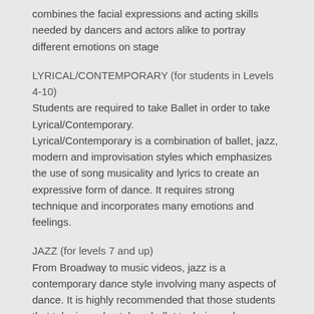combines the facial expressions and acting skills needed by dancers and actors alike to portray different emotions on stage
LYRICAL/CONTEMPORARY (for students in Levels 4-10)
Students are required to take Ballet in order to take Lyrical/Contemporary.
Lyrical/Contemporary is a combination of ballet, jazz, modern and improvisation styles which emphasizes the use of song musicality and lyrics to create an expressive form of dance. It requires strong technique and incorporates many emotions and feelings.
JAZZ (for levels 7 and up)
From Broadway to music videos, jazz is a contemporary dance style involving many aspects of dance. It is highly recommended that those students that take jazz also take a ballet technique class.
POINTE/PRE-POINTE